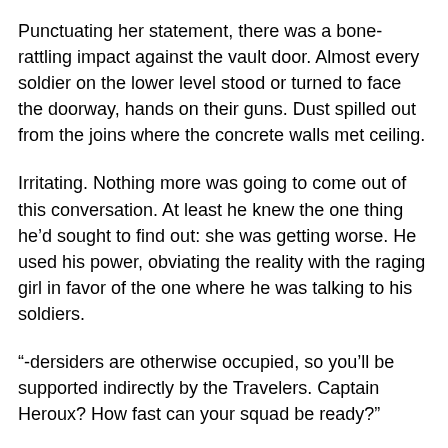Punctuating her statement, there was a bone-rattling impact against the vault door.  Almost every soldier on the lower level stood or turned to face the doorway, hands on their guns.  Dust spilled out  from the joins where the concrete walls met ceiling.
Irritating.  Nothing more was going to come out of this conversation.   At least he knew the one thing he’d sought to find out: she was getting worse.  He used his power, obviating the reality with the raging girl in favor of the one where he was talking to his soldiers.
“-dersiders are otherwise occupied, so you’ll be supported indirectly by the Travelers.  Captain Heroux?  How fast can your squad be ready?”
“We’re ready to go at a moment’s notice.”